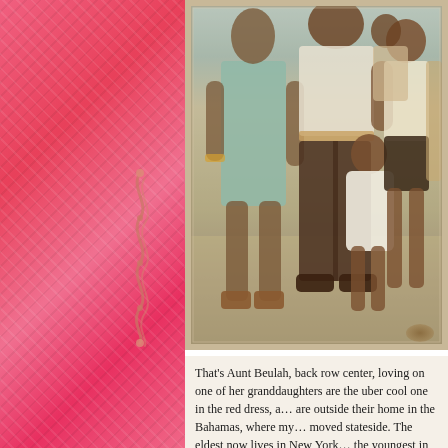[Figure (photo): Vintage family photograph showing a group of people standing outside their home in the Bahamas. A woman in a light blue/mint dress stands on the left, a man in dark trousers and white t-shirt in the center back, a small child in a white dress in the center foreground, and two older girls on the right side. The photo has a warm, sepia-toned vintage quality.]
That's Aunt Beulah, back row center, loving on one of her granddaughters are the uber cool one in the red dress, a... are outside their home in the Bahamas, where my... moved stateside. The eldest now lives in New York... the youngest in San Francisco, but they are all in F...